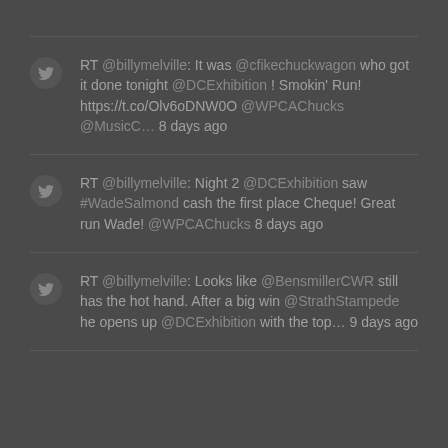RT @billymelville: It was @cfikechuckwagon who got it done tonight @DCExhibition ! Smokin' Run! https://t.co/Olv6oDNW0O @WPCAChucks @MusicC… 8 days ago
RT @billymelville: Night 2 @DCExhibition saw #WadeSalmond cash the first place Cheque! Great run Wade! @WPCAChucks 8 days ago
RT @billymelville: Looks like @BensmillerCWR still has the hot hand. After a big win @StrathStampede he opens up @DCExhibition with the top… 9 days ago
SUBSCRIBE